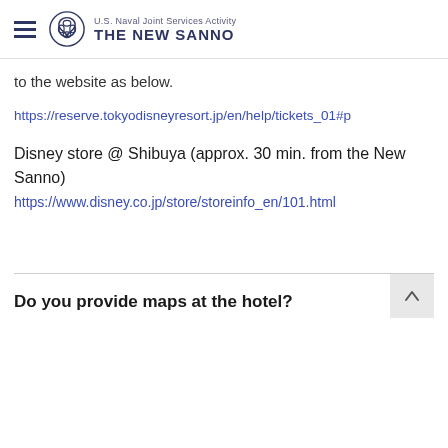U.S. Naval Joint Services Activity THE NEW SANNO
to the website as below.
https://reserve.tokyodisneyresort.jp/en/help/tickets_01#p
Disney store @ Shibuya (approx. 30 min. from the New Sanno)
https://www.disney.co.jp/store/storeinfo_en/101.html
Do you provide maps at the hotel?